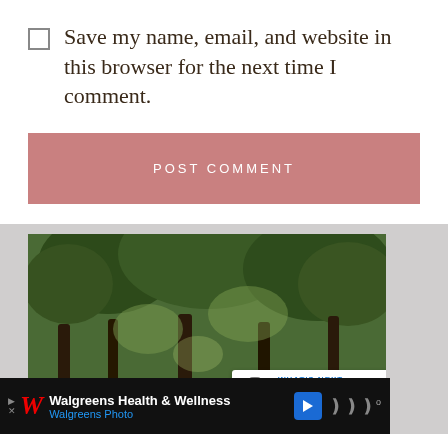Save my name, email, and website in this browser for the next time I comment.
POST COMMENT
[Figure (photo): Screenshot of a blog page showing a nature photo with trees and two children, with social interaction buttons (like heart button showing 469, share button), a 'What's Next' overlay showing 'Boho-Crown Braid //...', and a Walgreens Health & Wellness advertisement bar at the bottom.]